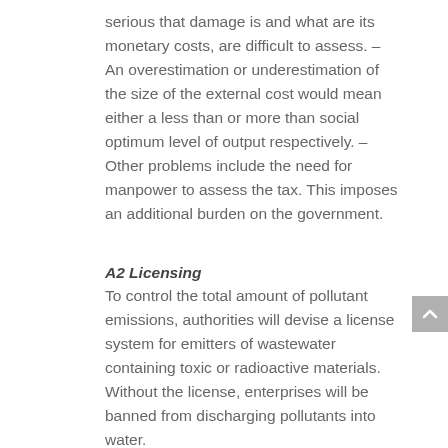serious that damage is and what are its monetary costs, are difficult to assess. – An overestimation or underestimation of the size of the external cost would mean either a less than or more than social optimum level of output respectively. – Other problems include the need for manpower to assess the tax. This imposes an additional burden on the government.
A2 Licensing
To control the total amount of pollutant emissions, authorities will devise a license system for emitters of wastewater containing toxic or radioactive materials. Without the license, enterprises will be banned from discharging pollutants into water.
Evaluation: – For smaller firms which are not able to afford the license, they will have to stop production